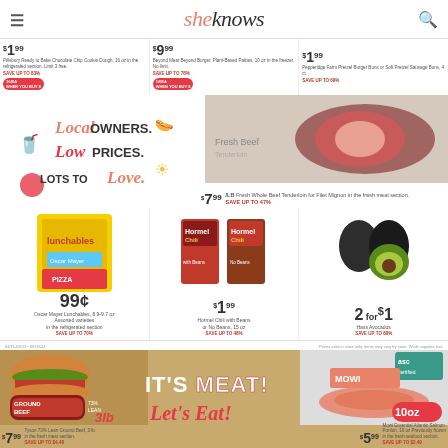sheknows
$1.99 Pillsbury Ready to Bake Chocolate Chip Cookie Dough. SAVE UP TO 83%
$9.99 Beyond Meat Beyond Burger, Plant-Based Patties. SAVE UP TO 78%
$1.99 Pepperidge Farm Pretzel Burger Buns or Soft Pretzel Sausage Buns. SAVE UP TO 69%
[Figure (infographic): Local Owners. Low Prices. Lots to Love. promotional banner with decorative icons]
[Figure (photo): Fresh whole beef tenderloin for filet mignon on plate]
$7.99/lb Fresh Whole Beef Tenderloin for Filet Mignon in the fresh meat section. SAVE UP TO 47%
[Figure (photo): Oscar Mayer Lunchables assorted varieties]
99¢ Oscar Mayer Lunchables, 8.9-9.7 oz Assorted varieties in the refrigerated section. SAVE UP TO 70%
[Figure (photo): Hormel Chili with Beans and No Beans cans]
$1.99 Hormel Chili with Beans or No Beans, 15 oz. SAVE UP TO 48%
[Figure (photo): Hass Avocados]
2 for $1 Hass Avocados. SAVE UP TO 80%
Prices valid in store only. Items may vary by store. While supplies last.
[Figure (photo): Ground beef roll and cheeseburger - Tyson 73% Lean Ground Beef, 3 lb]
$7.99 Tyson 73% Lean Ground Beef, 3 lb in the fresh meat section. SAVE UP TO $4.48
[Figure (infographic): IT'S MEAT! Let's Eat! promotional text banner]
[Figure (photo): Mowi Essential Atlantic Salmon Portion 10 oz package with ASC certification]
$5.99 Mowi Essential Atlantic Salmon Portion, 10 oz Previously frozen in the fresh seafood section. SAVE UP TO $2.49